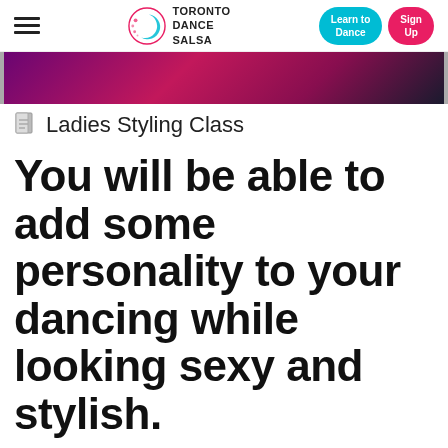Toronto Dance Salsa | Learn to Dance | Sign Up
[Figure (photo): Hero banner image with purple and pink lighting, dancer silhouette in background]
Ladies Styling Class
You will be able to add some personality to your dancing while looking sexy and stylish.
Hey ladies! Some students have been asking me what the Ladies Styling class is all about so here ...